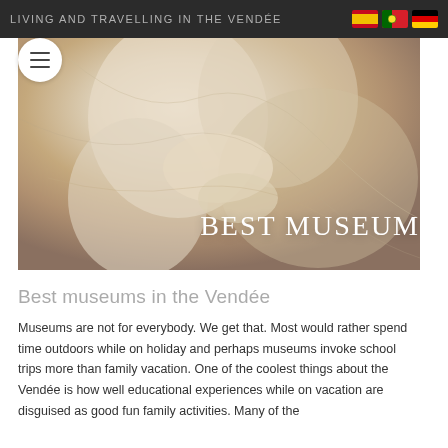LIVING AND TRAVELLING IN THE VENDÉE
[Figure (photo): Close-up of a white marble sculpture of two figures embracing, with the text 'BEST MUSEUM' overlaid in white serif letters across the lower portion of the image.]
Best museums in the Vendée
Museums are not for everybody. We get that. Most would rather spend time outdoors while on holiday and perhaps museums invoke school trips more than family vacation. One of the coolest things about the Vendée is how well educational experiences while on vacation are disguised as good fun family activities. Many of the museums here are